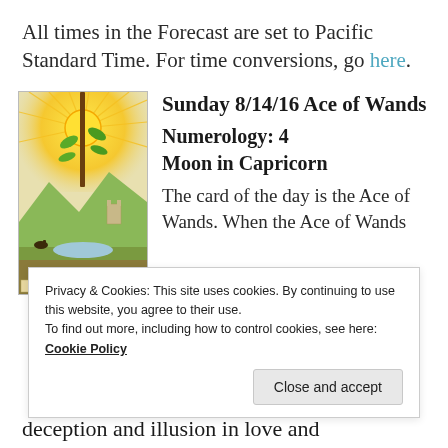All times in the Forecast are set to Pacific Standard Time. For time conversions, go here.
[Figure (illustration): Tarot card illustration: Ace of Wands, showing a hand holding a wand with leaves against a bright sun and landscape background. Label reads ACE OF WANDS.]
Sunday 8/14/16 Ace of Wands
Numerology: 4
Moon in Capricorn
The card of the day is the Ace of Wands. When the Ace of Wands
Privacy & Cookies: This site uses cookies. By continuing to use this website, you agree to their use.
To find out more, including how to control cookies, see here: Cookie Policy
Close and accept
deception and illusion in love and